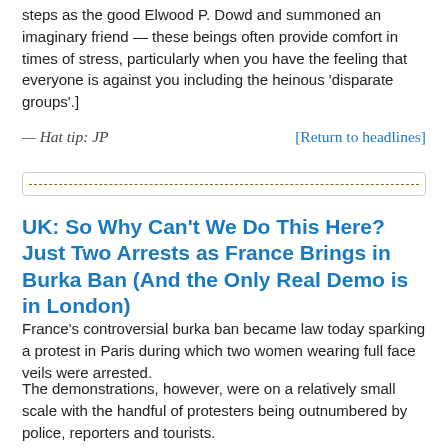steps as the good Elwood P. Dowd and summoned an imaginary friend — these beings often provide comfort in times of stress, particularly when you have the feeling that everyone is against you including the heinous 'disparate groups'.]
— Hat tip: JP
[Return to headlines]
UK: So Why Can't We Do This Here? Just Two Arrests as France Brings in Burka Ban (And the Only Real Demo is in London)
France's controversial burka ban became law today sparking a protest in Paris during which two women wearing full face veils were arrested.
The demonstrations, however, were on a relatively small scale with the handful of protesters being outnumbered by police, reporters and tourists.